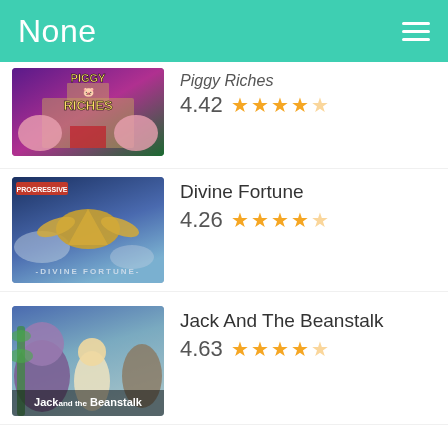None
[Figure (screenshot): Piggy Riches slot game thumbnail with cartoon pigs in front of a mansion]
Piggy Riches
4.42 ★★★★☆
[Figure (screenshot): Divine Fortune slot game thumbnail with a golden winged horse (Pegasus) and PROGRESSIVE label]
Divine Fortune
4.26 ★★★★☆
[Figure (screenshot): Jack And The Beanstalk slot game thumbnail with animated characters]
Jack And The Beanstalk
4.63 ★★★★☆